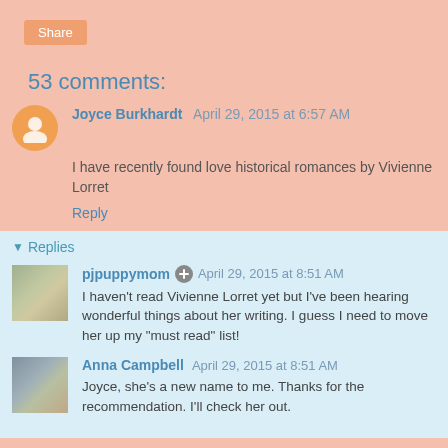Share
53 comments:
Joyce Burkhardt April 29, 2015 at 6:57 AM
I have recently found love historical romances by Vivienne Lorret
Reply
Replies
pjpuppymom April 29, 2015 at 8:51 AM
I haven't read Vivienne Lorret yet but I've been hearing wonderful things about her writing. I guess I need to move her up my "must read" list!
Anna Campbell April 29, 2015 at 8:51 AM
Joyce, she's a new name to me. Thanks for the recommendation. I'll check her out.